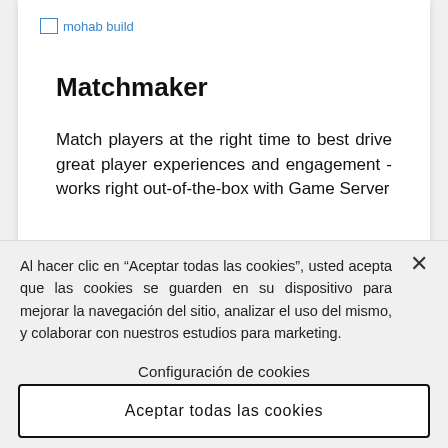[Figure (screenshot): Broken image placeholder icon with alt text 'mohab build' shown in blue link color]
Matchmaker
Match players at the right time to best drive great player experiences and engagement - works right out-of-the-box with Game Server
Al hacer clic en “Aceptar todas las cookies”, usted acepta que las cookies se guarden en su dispositivo para mejorar la navegación del sitio, analizar el uso del mismo, y colaborar con nuestros estudios para marketing.
Configuración de cookies
Aceptar todas las cookies